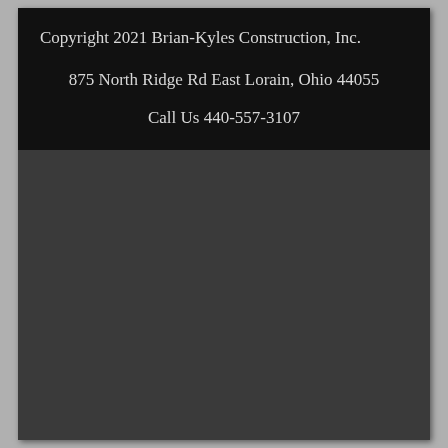Copyright 2021 Brian-Kyles Construction, Inc.
875 North Ridge Rd East Lorain, Ohio 44055
Call Us 440-557-3107